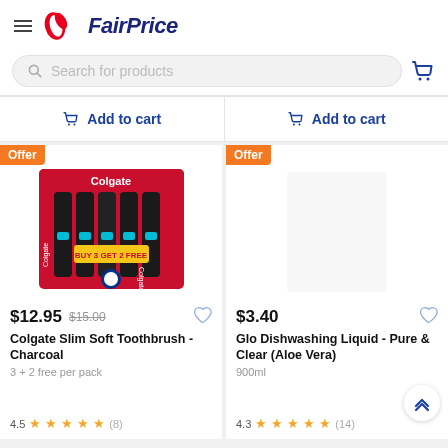FairPrice
Search for products
Add to cart | Add to cart
[Figure (photo): Colgate Slim Soft Toothbrush Charcoal 5-pack product image with red packaging, Buy 3 Get 2 Free label]
$12.95  $15.00  Colgate Slim Soft Toothbrush - Charcoal  3 + 2 free per pack  4.5 (8)
$3.40  Glo Dishwashing Liquid - Pure & Clear (Aloe Vera)  900ml  4.3 (14)